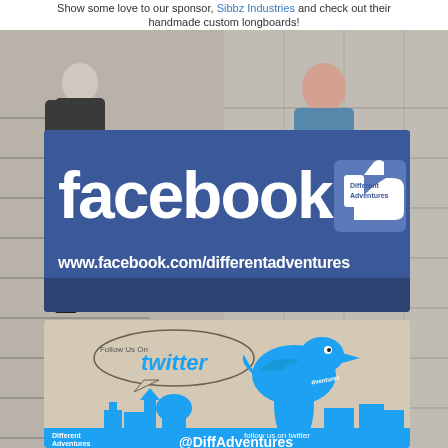Show some love to our sponsor, Sibbz Industries and check out their handmade custom longboards!
[Figure (photo): Two-panel photo collage showing women posing on outdoor stairs; left panel shows woman in dark outfit, right panel shows woman in blue dress]
[Figure (infographic): Facebook social media banner with blue background showing Facebook logo, thumbs up icon with 'Different Adventures' label, and URL www.facebook.com/differentadventures]
[Figure (infographic): Twitter follow banner with tan/beige background featuring illustrated blue Twitter bird over a London skyline, speech bubble saying 'Follow Us On twitter', text showing @DiffAdventures and 'follow us on twitter', branded 'Different Adventures']